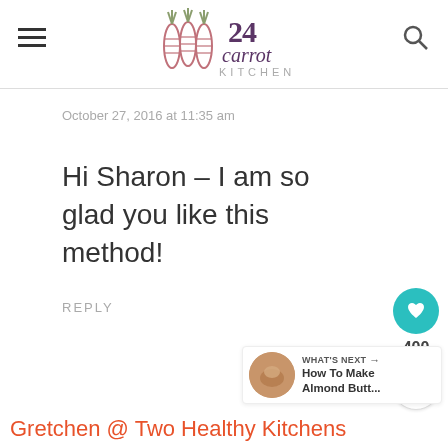24 Carrot Kitchen
October 27, 2016 at 11:35 am
Hi Sharon – I am so glad you like this method!
REPLY
400
WHAT'S NEXT → How To Make Almond Butt...
Gretchen @ Two Healthy Kitchens